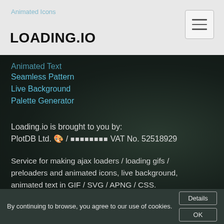Animated Icons
LOADING.IO
Animated Text
Seamless Pattern
Live Background
Palette Generator
Loading.io is brought to you by:
PlotDB Ltd. 🎨 / 【symbols】 VAT No. 52518929
Service for making ajax loaders / loading gifs / preloaders and animated icons, live background, animated text in GIF / SVG / APNG / CSS.
✉  Customer Service: contact@loading.io
By continuing to browse, you agree to our use of cookies.